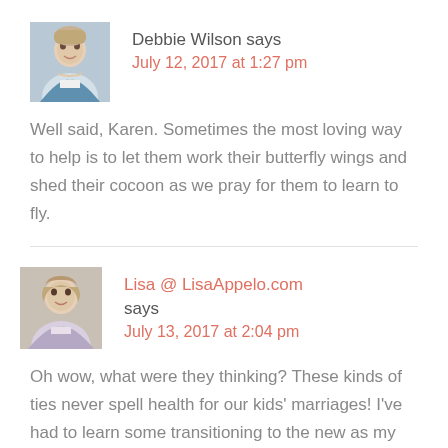Debbie Wilson says
July 12, 2017 at 1:27 pm
Well said, Karen. Sometimes the most loving way to help is to let them work their butterfly wings and shed their cocoon as we pray for them to learn to fly.
Lisa @ LisaAppelo.com says
July 13, 2017 at 2:04 pm
Oh wow, what were they thinking? These kinds of ties never spell health for our kids' marriages! I've had to learn some transitioning to the new as my older 2